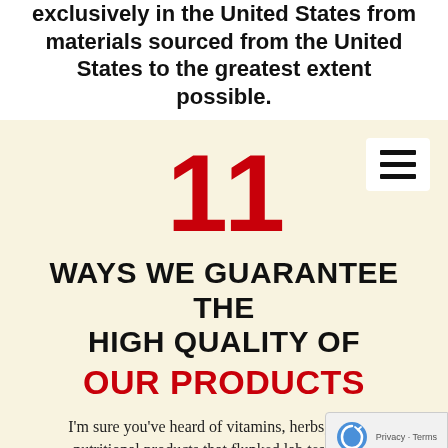exclusively in the United States from materials sourced from the United States to the greatest extent possible.
[Figure (infographic): Cream background infographic section with hamburger menu icon in top right corner, large red number 11, bold black uppercase text 'WAYS WE GUARANTEE THE HIGH QUALITY OF' and bold red uppercase text 'OUR PRODUCTS', followed by body text beginning 'I'm sure you've heard of vitamins, herbs, and other nutritional products that flunked lab tests. Here']
I'm sure you've heard of vitamins, herbs, and other nutritional products that flunked lab tests. Here